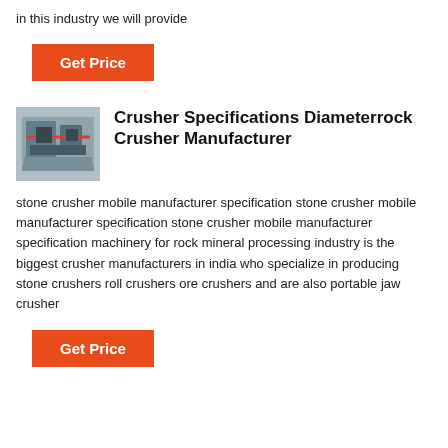in this industry we will provide
Get Price
[Figure (photo): Industrial crusher machine photographed from the side, showing heavy machinery with metal frame]
Crusher Specifications Diameterrock Crusher Manufacturer
stone crusher mobile manufacturer specification stone crusher mobile manufacturer specification stone crusher mobile manufacturer specification machinery for rock mineral processing industry is the biggest crusher manufacturers in india who specialize in producing stone crushers roll crushers ore crushers and are also portable jaw crusher
Get Price